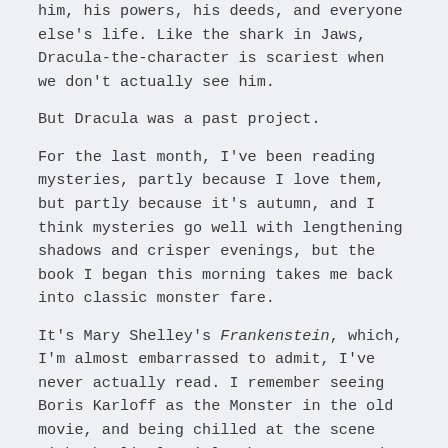him, his powers, his deeds, and everyone else's life. Like the shark in Jaws, Dracula-the-character is scariest when we don't actually see him.
But Dracula was a past project.
For the last month, I've been reading mysteries, partly because I love them, but partly because it's autumn, and I think mysteries go well with lengthening shadows and crisper evenings, but the book I began this morning takes me back into classic monster fare.
It's Mary Shelley's Frankenstein, which, I'm almost embarrassed to admit, I've never actually read. I remember seeing Boris Karloff as the Monster in the old movie, and being chilled at the scene with the little girl, the Monster, and the flower. I remember reading riffs on Frankenstein, and of course I know that Rocky Horror for all its silliness is still derivative of Shelley's work.